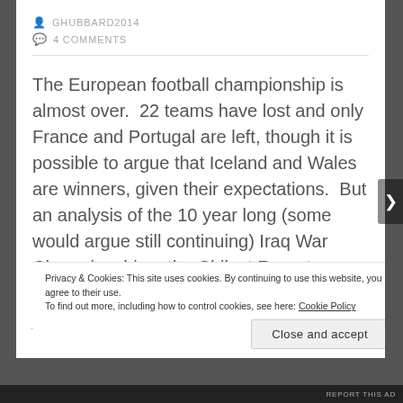GHUBBARD2014
4 COMMENTS
The European football championship is almost over.  22 teams have lost and only France and Portugal are left, though it is possible to argue that Iceland and Wales are winners, given their expectations.  But an analysis of the 10 year long (some would argue still continuing) Iraq War Championship – the Chilcot Report – was released this week.  Many have wondered just who 'won' this event, but Chilcot made it clear.  Everyone lost.  And Chilcot explained why.
Privacy & Cookies: This site uses cookies. By continuing to use this website, you agree to their use.
To find out more, including how to control cookies, see here: Cookie Policy
Close and accept